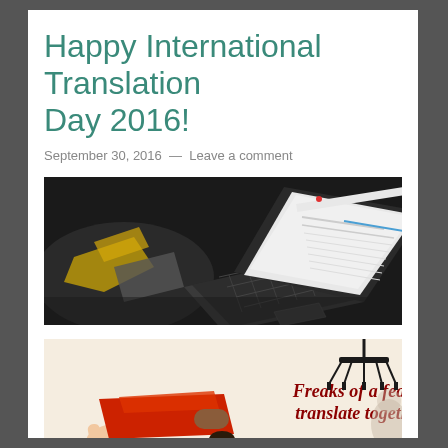Happy International Translation Day 2016!
September 30, 2016 — Leave a comment
[Figure (photo): Overhead view of an open laptop on a dark surface with a person's hand visible, laptop screen showing text/email content in a dark room]
[Figure (illustration): Illustrated poster with cream background showing a person in a red cape and text reading 'Freaks of a feather translate together!' in bold red italic serif font, with a chandelier and figure in the background]